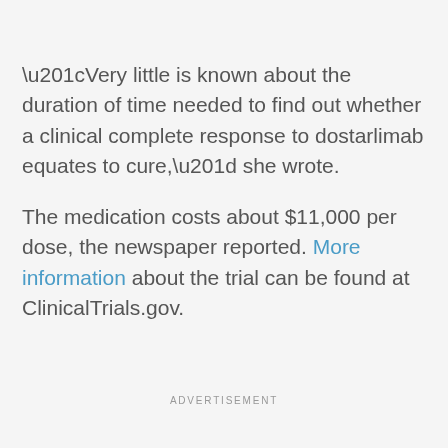“Very little is known about the duration of time needed to find out whether a clinical complete response to dostarlimab equates to cure,” she wrote.
The medication costs about $11,000 per dose, the newspaper reported. More information about the trial can be found at ClinicalTrials.gov.
ADVERTISEMENT